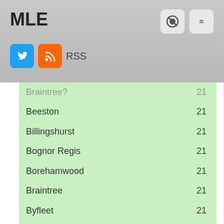MLE
| Town | Count |
| --- | --- |
| Beeston | 21 |
| Billingshurst | 21 |
| Bognor Regis | 21 |
| Borehamwood | 21 |
| Braintree | 21 |
| Byfleet | 21 |
| Cirencester | 21 |
| Coalville | 21 |
| Denmead | 21 |
| Horley | 21 |
| Ilkeston | 21 |
| Liphook | 21 |
| Redruth | 21 |
| Sale | 21 |
| Seal | 21 |